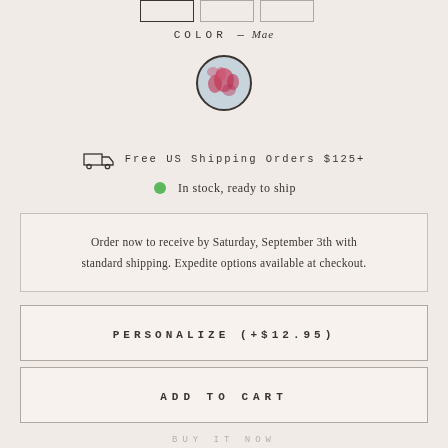COLOR — Mae
[Figure (illustration): Circular color swatch showing a floral/watercolor pattern in blue-grey background with red/pink floral motif, outlined with a dark border circle]
Free US Shipping Orders $125+
In stock, ready to ship
Order now to receive by Saturday, September 3th with standard shipping. Expedite options available at checkout.
PERSONALIZE (+$12.95)
ADD TO CART
BUY IT NOW